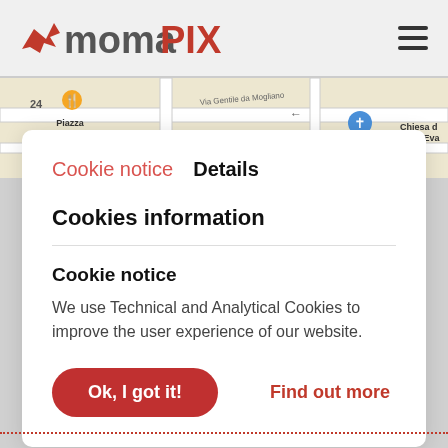momapix
[Figure (screenshot): Google Maps strip showing Piazza Nuccitelli, Via Gentile da Mogliano, and Chiesa di Luca Eva]
Cookie notice   Details
Cookies information
Cookie notice
We use Technical and Analytical Cookies to improve the user experience of our website.
Ok, I got it!   Find out more